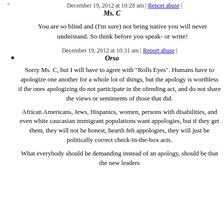December 19, 2012 at 10:28 am | Report abuse |
Ms. C
You are so blind and (I'm sure) not being native you will never understand. So think before you speak- or write!
December 19, 2012 at 10:31 am | Report abuse |
Orso
Sorry Ms. C, but I will have to agree with "Rolls Eyes". Humans have to apologize one another for a whole lot of things, but the apology is worthless if the ones apologizing do not participate in the ofending act, and do not share the views or sentiments of those that did.
African Americans, Jews, Hispanics, women, persons with disabilities, and even white caucasian immigrant populations want appologies, but if they get them, they will not be honest, hearth felt appologies, they will just be politically correct check-in-the-box acts.
What everybody should be demanding instead of an apology, should be that the new leaders